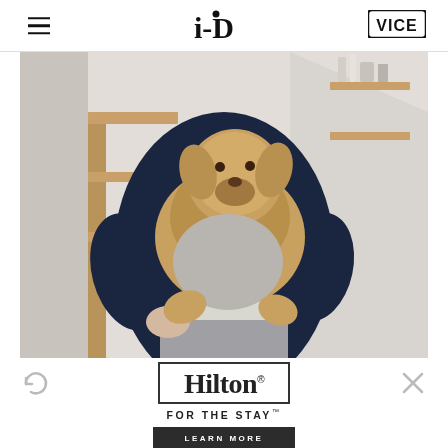i-D | VICE
[Figure (photo): Person wearing a navy blue sweatshirt holding a fluffy brown teddy bear dog (likely a Cavapoo or Cockapoo) in their arms. The dog wears a grey outfit. The person also wears grey trousers. Background shows a staircase with wooden accents and shelves with beauty products. The image appears to be a fashion editorial screenshot.]
[Figure (logo): Hilton hotel advertisement. Hilton logo in a rectangular border with text 'FOR THE STAY' below, and a 'LEARN MORE' button. Refresh and close icons visible on the ad overlay.]